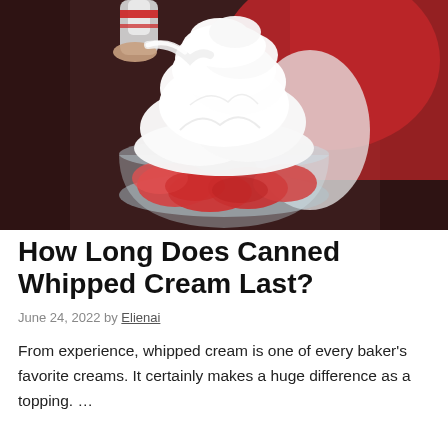[Figure (photo): A close-up photo of whipped cream being sprayed from a can onto a glass bowl filled with red strawberry pieces. A person in a red dress holds the can. Background is blurred dark tones.]
How Long Does Canned Whipped Cream Last?
June 24, 2022 by Elienai
From experience, whipped cream is one of every baker's favorite creams. It certainly makes a huge difference as a topping. …